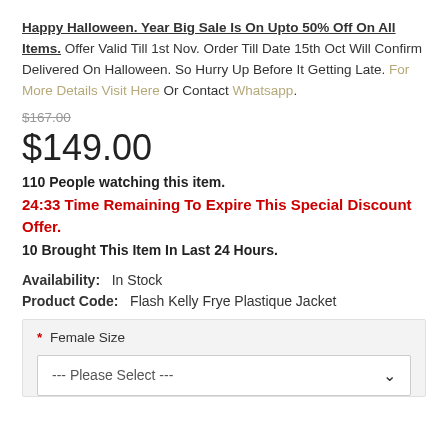Happy Halloween. Year Big Sale Is On Upto 50% Off On All Items. Offer Valid Till 1st Nov. Order Till Date 15th Oct Will Confirm Delivered On Halloween. So Hurry Up Before It Getting Late. For More Details Visit Here Or Contact Whatsapp.
$167.00 (strikethrough)
$149.00
110 People watching this item.
24:33 Time Remaining To Expire This Special Discount Offer.
10 Brought This Item In Last 24 Hours.
Availability: In Stock
Product Code: Flash Kelly Frye Plastique Jacket
* Female Size
--- Please Select ---